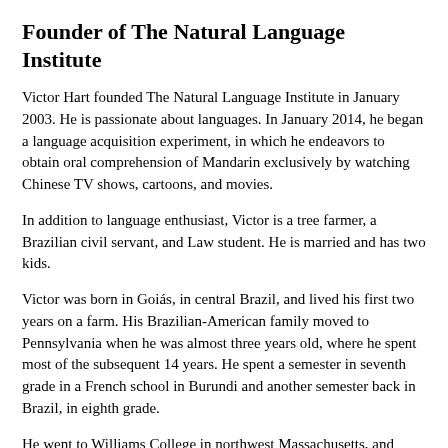Founder of The Natural Language Institute
Victor Hart founded The Natural Language Institute in January 2003. He is passionate about languages. In January 2014, he began a language acquisition experiment, in which he endeavors to obtain oral comprehension of Mandarin exclusively by watching Chinese TV shows, cartoons, and movies.
In addition to language enthusiast, Victor is a tree farmer, a Brazilian civil servant, and Law student. He is married and has two kids.
Victor was born in Goiás, in central Brazil, and lived his first two years on a farm. His Brazilian-American family moved to Pennsylvania when he was almost three years old, where he spent most of the subsequent 14 years. He spent a semester in seventh grade in a French school in Burundi and another semester back in Brazil, in eighth grade.
He went to Williams College in northwest Massachusetts, and spent a semester in Sevilla, Spain. Victor moved to Brazil after college, in 2000, to rebuild the family farm. Fourteen years later, he has planted deep roots in Brazil's Planalto (literally and figuratively), and despite many international work trips, is likely to